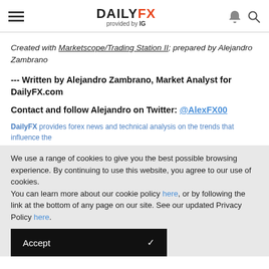DAILYFX provided by IG
Created with Marketscope/Trading Station II; prepared by Alejandro Zambrano
--- Written by Alejandro Zambrano, Market Analyst for DailyFX.com
Contact and follow Alejandro on Twitter: @AlexFX00
DailyFX provides forex news and technical analysis on the trends that influence the global...
We use a range of cookies to give you the best possible browsing experience. By continuing to use this website, you agree to our use of cookies.
You can learn more about our cookie policy here, or by following the link at the bottom of any page on our site. See our updated Privacy Policy here.
Accept